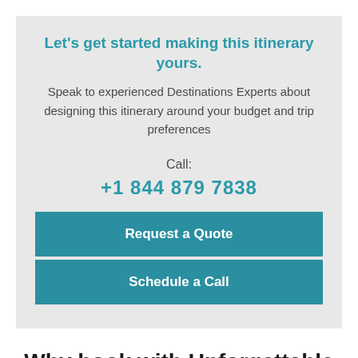Let’s get started making this itinerary yours.
Speak to experienced Destinations Experts about designing this itinerary around your budget and trip preferences
Call:
+1 844 879 7838
Request a Quote
Schedule a Call
Why book with Unforgettable Travel Co.